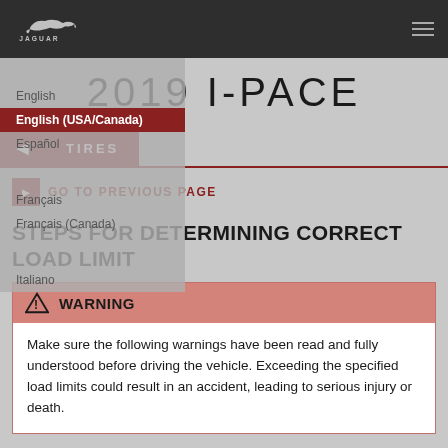JAGUAR
2019 I-PACE
TIRES
GO TO PREVIOUS PAGE
STEPS FOR DETERMINING CORRECT LOAD LIMIT
WARNING
Make sure the following warnings have been read and fully understood before driving the vehicle. Exceeding the specified load limits could result in an accident, leading to serious injury or death.